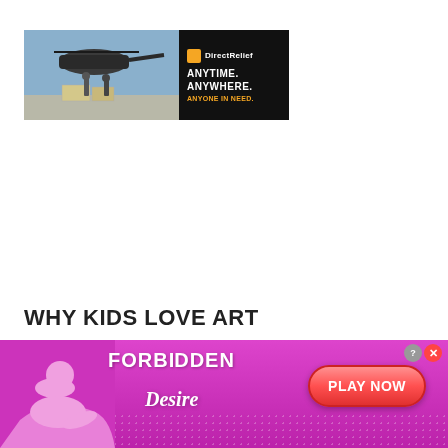[Figure (advertisement): Direct Relief banner ad showing helicopter and cargo loading with text: ANYTIME. ANYWHERE. ANYONE IN NEED.]
WHY KIDS LOVE ART
Looking at it from a more lighthearted angle, the
[Figure (advertisement): FORBIDDEN Desire - PLAY NOW adult game advertisement banner with pink/purple background and silhouette figure]